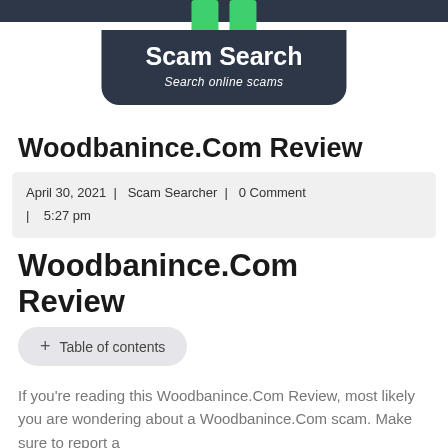[Figure (logo): Scam Search logo with dark navy rounded rectangle containing white bold text 'Scam Search' and italic subtitle 'Search online scams', with two green tab pieces above]
Woodbanince.Com Review
April 30, 2021 | Scam Searcher | 0 Comment | 5:27 pm
Woodbanince.Com Review
+ Table of contents
If you're reading this Woodbanince.Com Review, most likely you are wondering about a Woodbanince.Com scam. Make sure to report a